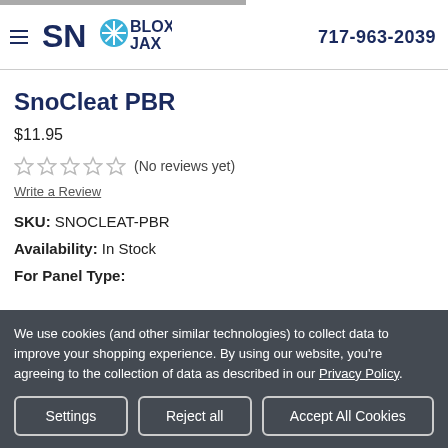717-963-2039
[Figure (logo): SnoBlox Jax logo with snowflake icon and hamburger menu]
SnoCleat PBR
$11.95
★★★★★ (No reviews yet)
Write a Review
SKU: SNOCLEAT-PBR
Availability: In Stock
For Panel Type:
We use cookies (and other similar technologies) to collect data to improve your shopping experience. By using our website, you're agreeing to the collection of data as described in our Privacy Policy.
Settings | Reject all | Accept All Cookies